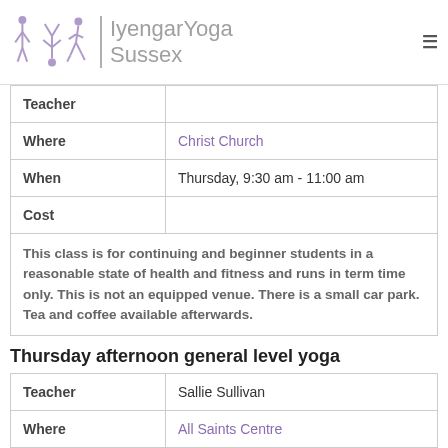[Figure (logo): Iyengar Yoga Sussex logo with yoga pose figures in purple and text]
| Teacher | Where | When | Cost |
| --- | --- | --- | --- |
| Teacher |  |
| Where | Christ Church |
| When | Thursday, 9:30 am - 11:00 am |
| Cost |  |
| This class is for continuing and beginner students in a reasonable state of health and fitness and runs in term time only. This is not an equipped venue. There is a small car park. Tea and coffee available afterwards. |  |
Thursday afternoon general level yoga
| Teacher | Where | When | Cost |
| --- | --- | --- | --- |
| Teacher | Sallie Sullivan |
| Where | All Saints Centre |
| When | Thursday, 1:30 pm - 3:00 pm |
| Cost |  |